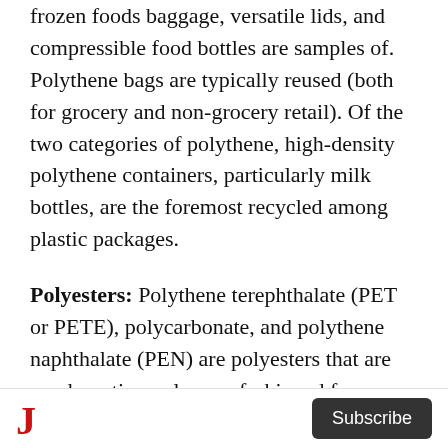frozen foods baggage, versatile lids, and compressible food bottles are samples of. Polythene bags are typically reused (both for grocery and non-grocery retail). Of the two categories of polythene, high-density polythene containers, particularly milk bottles, are the foremost recycled among plastic packages.
Polyesters: Polythene terephthalate (PET or PETE), polycarbonate, and polythene naphthalate (PEN) are polyesters that are condensation polymers fashioned from organic compound monomers that result from the reaction between acid and alcohol. The foremost
J  Subscribe